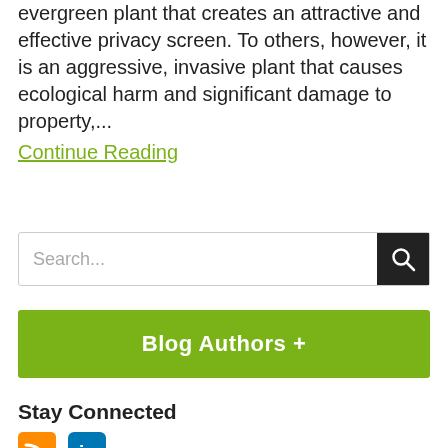evergreen plant that creates an attractive and effective privacy screen.  To others, however, it is an aggressive, invasive plant that causes ecological harm and significant damage to property,...
Continue Reading
[Figure (other): Search input box with magnifying glass icon on the right]
[Figure (other): Green button labeled 'Blog Authors +']
Stay Connected
[Figure (other): RSS feed icon (orange) and LinkedIn icon (blue)]